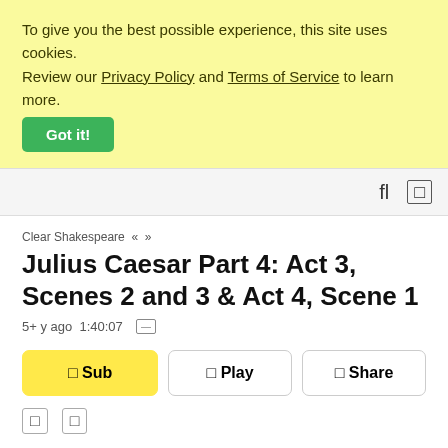To give you the best possible experience, this site uses cookies. Review our Privacy Policy and Terms of Service to learn more.
Got it!
fl  []
Clear Shakespeare « »
Julius Caesar Part 4: Act 3, Scenes 2 and 3 & Act 4, Scene 1
5+ y ago  1:40:07  □
□ Sub   □ Play   □ Share
□  □
MP3 • Episode home